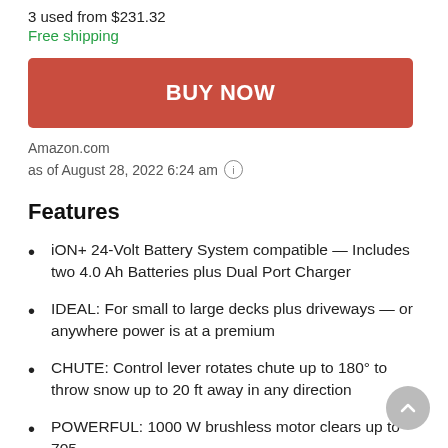3 used from $231.32
Free shipping
[Figure (other): BUY NOW button in red/coral color]
Amazon.com
as of August 28, 2022 6:24 am ⓘ
Features
iON+ 24-Volt Battery System compatible — Includes two 4.0 Ah Batteries plus Dual Port Charger
IDEAL: For small to large decks plus driveways — or anywhere power is at a premium
CHUTE: Control lever rotates chute up to 180° to throw snow up to 20 ft away in any direction
POWERFUL: 1000 W brushless motor clears up to 705